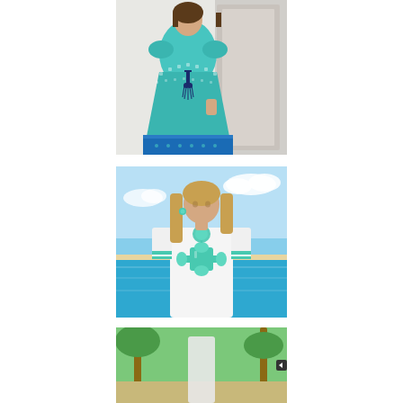[Figure (photo): Woman wearing a turquoise/teal geometric print midi dress with navy tassel tie waist, standing in front of a white door. Dress has a bold border print at the hem.]
[Figure (photo): Woman in a white short-sleeve beach cover-up dress with turquoise/mint cross embroidered applique on the front and turquoise trim on sleeves. Standing on a tropical beach with blue sky and ocean in background.]
[Figure (photo): Partial view of a third fashion photo, partially cropped at the bottom of the page. Shows a tropical/beach setting.]